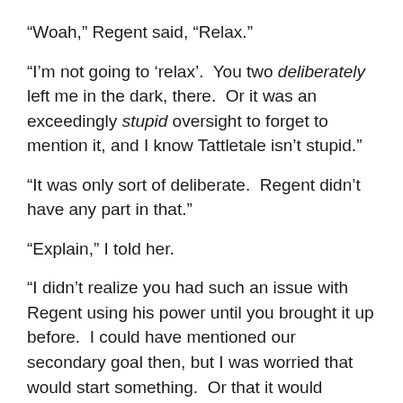“Woah,” Regent said, “Relax.”
“I’m not going to ‘relax’.  You two deliberately left me in the dark, there.  Or it was an exceedingly stupid oversight to forget to mention it, and I know Tattletale isn’t stupid.”
“It was only sort of deliberate.  Regent didn’t have any part in that.”
“Explain,” I told her.
“I didn’t realize you had such an issue with Regent using his power until you brought it up before.  I could have mentioned our secondary goal then, but I was worried that would start something.  Or that it would discombobulate you before we got into a thing with the Chosen.”
“As opposed to finding it out right after.”